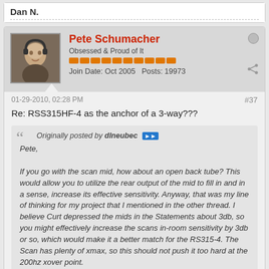Dan N.
Pete Schumacher
Obsessed & Proud of It
Join Date: Oct 2005  Posts: 19973
01-29-2010, 02:28 PM
#37
Re: RSS315HF-4 as the anchor of a 3-way???
Originally posted by dlneubec
Pete,

If you go with the scan mid, how about an open back tube? This would allow you to utilize the rear output of the mid to fill in and in a sense, increase its effective sensitivity. Anyway, that was my line of thinking for my project that I mentioned in the other thread. I believe Curt depressed the mids in the Statements about 3db, so you might effectively increase the scans in-room sensitivity by 3db or so, which would make it a better match for the RS315-4. The Scan has plenty of xmax, so this should not push it too hard at the 200hz xover point.
I'll have to think about that one. Putting a tube in there isn't all that